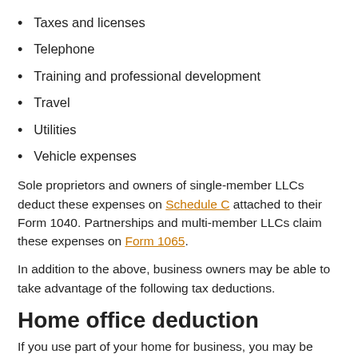Taxes and licenses
Telephone
Training and professional development
Travel
Utilities
Vehicle expenses
Sole proprietors and owners of single-member LLCs deduct these expenses on Schedule C attached to their Form 1040. Partnerships and multi-member LLCs claim these expenses on Form 1065.
In addition to the above, business owners may be able to take advantage of the following tax deductions.
Home office deduction
If you use part of your home for business, you may be